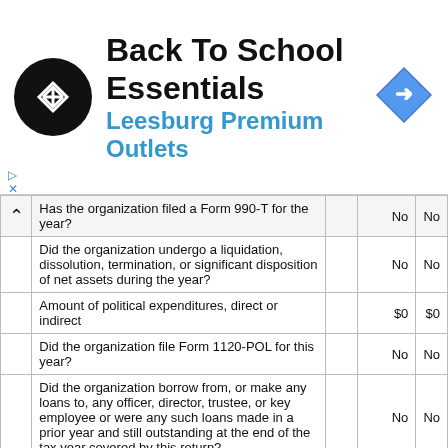[Figure (other): Advertisement banner: Back To School Essentials at Leesburg Premium Outlets with logo and map arrow icon]
| Question |  | No | No |
| --- | --- | --- | --- |
| Has the organization filed a Form 990-T for the year? |  | No | No |
| Did the organization undergo a liquidation, dissolution, termination, or significant disposition of net assets during the year? |  | No | No |
| Amount of political expenditures, direct or indirect |  | $0 | $0 |
| Did the organization file Form 1120-POL for this year? |  | No | No |
| Did the organization borrow from, or make any loans to, any officer, director, trustee, or key employee or were any such loans made in a prior year and still outstanding at the end of the tax year covered by this return? |  | No | No |
| Total amount involved |  | $0 | $0 |
| Initiation fees and capital contributions | $0 | $0 | $0 |
| Gross receipts for public use of club facilities | $0 | $0 | $0 |
| Did the organization engage in any section 4958 excess benefit transaction during the year, or did it engage in an excess benefit transaction in a prior year that has not been reported on any of its prior Forms 990 or 990-EZ? |  |  | No |